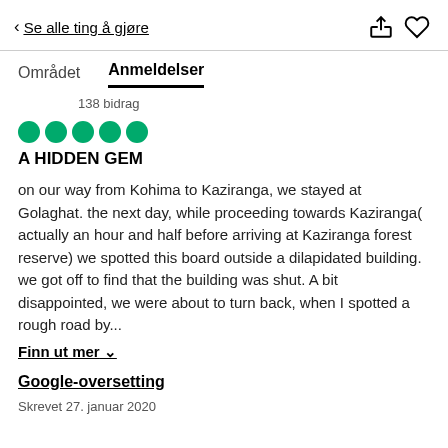< Se alle ting å gjøre
Området   Anmeldelser
138 bidrag
[Figure (other): Five green filled circles representing a 5-star rating]
A HIDDEN GEM
on our way from Kohima to Kaziranga, we stayed at Golaghat. the next day, while proceeding towards Kaziranga( actually an hour and half before arriving at Kaziranga forest reserve) we spotted this board outside a dilapidated building. we got off to find that the building was shut. A bit disappointed, we were about to turn back, when I spotted a rough road by...
Finn ut mer ∨
Google-oversetting
Skrevet 27. januar 2020